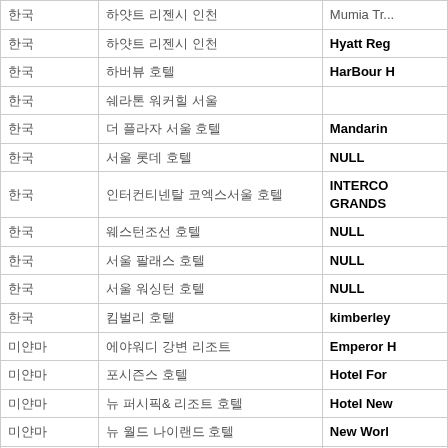|  |  | Mumia Tr... |
| --- | --- | --- |
| 한국 | 하얏트 리젠시 인천 | Hyatt Reg |
| 한국 | 하버뷰 호텔 | HarBour H |
| 한국 | 쉐라톤 워커힐 서울 |  |
| 한국 | 더 플라자 서울 호텔 | Mandarin |
| 한국 | 서울 롯데 호텔 | NULL |
| 한국 | 인터컨티넨탈 코엑스서울 호텔 | INTERCO
GRANDS |
| 한국 | 웨스턴조선 호텔 | NULL |
| 한국 | 서울 팔래스 호텔 | NULL |
| 한국 | 서울 워싱턴 호텔 | NULL |
| 한국 | 킴벌리 호텔 | kimberley |
| 미얀마 | 에야워디 강변 리조트 | Emperor H |
| 미얀마 | 포시즌스 호텔 | Hotel For |
| 미얀마 | 뉴 퍼시픽& 리조트 호텔 | Hotel New |
| 미얀마 | 뉴 월드 나이랜드 호텔 | New Worl |
| 미얀마 | MGM 메가몰 호텔 | MGM Gr |
| 미얀마 | YANGGON HOTEL 양곤호텔 | YANGGO |
| 미얀마 | 세도나 호텔 | SEDONA |
| 미얀마 | 후핀 호텔 | HuPin Ho |
| 미얀마 | 동 서 호텔 미얀마 | SANBI |